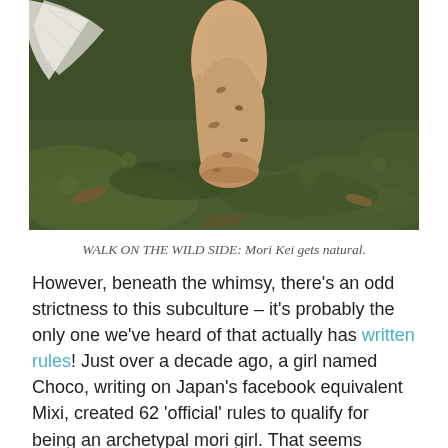[Figure (photo): Close-up photo of a bare foot walking on green moss in a natural forest setting, with dirt and small marks on the skin and some leaves/cloth visible in the background.]
WALK ON THE WILD SIDE: Mori Kei gets natural.
However, beneath the whimsy, there’s an odd strictness to this subculture – it’s probably the only one we’ve heard of that actually has written rules! Just over a decade ago, a girl named Choco, writing on Japan’s facebook equivalent Mixi, created 62 ‘official’ rules to qualify for being an archetypal mori girl. That seems somewhat excessive and specific, I hear you say. Especially as fashion is meant to be a fluid language and also very personal.